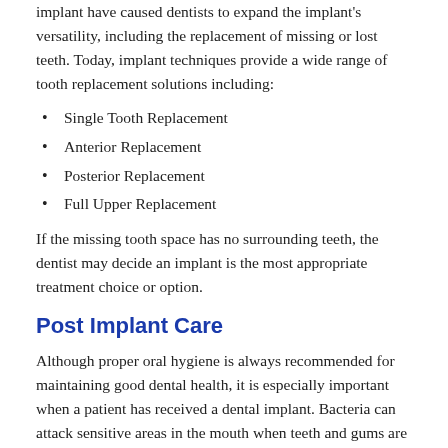implant have caused dentists to expand the implant's versatility, including the replacement of missing or lost teeth. Today, implant techniques provide a wide range of tooth replacement solutions including:
Single Tooth Replacement
Anterior Replacement
Posterior Replacement
Full Upper Replacement
If the missing tooth space has no surrounding teeth, the dentist may decide an implant is the most appropriate treatment choice or option.
Post Implant Care
Although proper oral hygiene is always recommended for maintaining good dental health, it is especially important when a patient has received a dental implant. Bacteria can attack sensitive areas in the mouth when teeth and gums are not properly cleaned, thus causing gums to swell and jaw bones to gradually recede. Recession of the jawbone will weaken implants and eventually make it necessary for the implant to be removed. Patients are advised to visit their dentists at least twice a year to ensure the health of their teeth and implants. Dental implants can last for decades when given proper care.